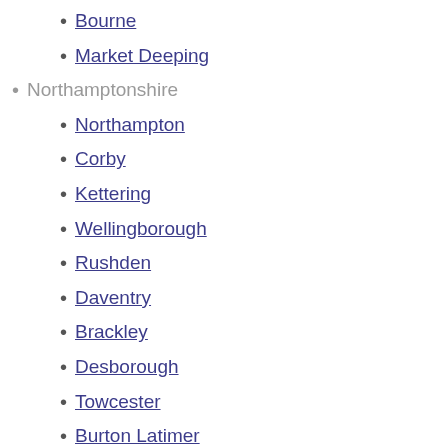Bourne
Market Deeping
Northamptonshire
Northampton
Corby
Kettering
Wellingborough
Rushden
Daventry
Brackley
Desborough
Towcester
Burton Latimer
Nottinghamshire
Nottingham
Mansfield